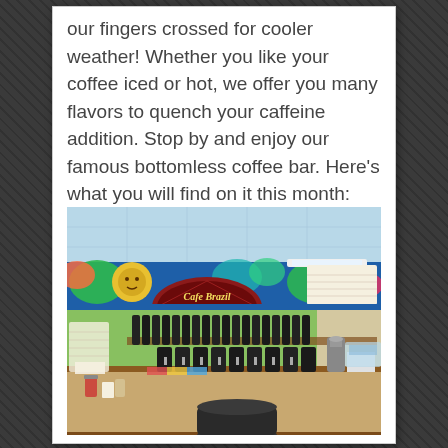our fingers crossed for cooler weather! Whether you like your coffee iced or hot, we offer you many flavors to quench your caffeine addition. Stop by and enjoy our famous bottomless coffee bar. Here's what you will find on it this month:
[Figure (photo): Interior photo of Cafe Brazil coffee bar showing a colorful mural border near the ceiling with tropical designs, a 'Cafe Brazil Specialty Roasted Gourmet Coffee' sign, green walls, a long counter with multiple coffee brewers/dispensers lined up, cups, and coffee-related items.]